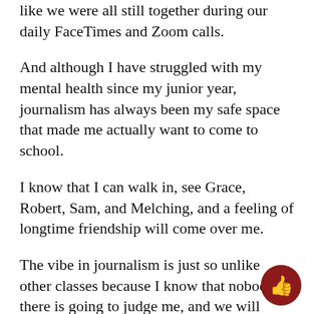like we were all still together during our daily FaceTimes and Zoom calls.
And although I have struggled with my mental health since my junior year, journalism has always been my safe space that made me actually want to come to school.
I know that I can walk in, see Grace, Robert, Sam, and Melching, and a feeling of longtime friendship will come over me.
The vibe in journalism is just so unlike other classes because I know that nobody in there is going to judge me, and we will interact with each other for a lot of the class period.
This has left me with so many good, core memories from this class.
I...